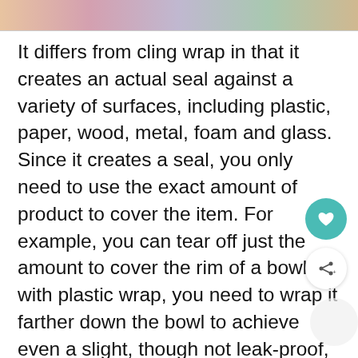[Figure (photo): Top portion of a photo showing colorful items, cropped at the top of the page]
It differs from cling wrap in that it creates an actual seal against a variety of surfaces, including plastic, paper, wood, metal, foam and glass. Since it creates a seal, you only need to use the exact amount of product to cover the item. For example, you can tear off just the amount to cover the rim of a bowl; with plastic wrap, you need to wrap it farther down the bowl to achieve even a slight, though not leak-proof, seal which creates more waste.